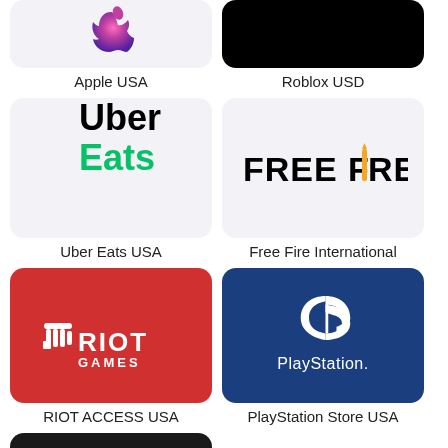[Figure (logo): Apple USA gift card with colorful Apple logo on light gray background]
Apple USA
[Figure (logo): Roblox USD gift card with black background]
Roblox USD
[Figure (logo): Uber Eats USA card with Uber Eats logo on light gray background]
Uber Eats USA
[Figure (logo): Free Fire International card with FREE FIRE logo and flame accent on light gray background]
Free Fire International
[Figure (logo): Riot Access USA card with Riot Games logo on red background]
RIOT ACCESS USA
[Figure (logo): PlayStation Store USA card with PlayStation logo on dark blue background]
PlayStation Store USA
[Figure (logo): Partially visible dark card at bottom of page]